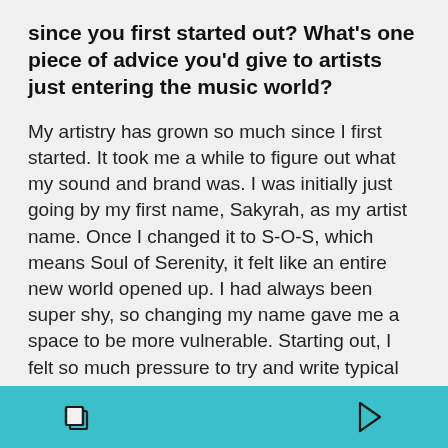since you first started out? What's one piece of advice you'd give to artists just entering the music world?
My artistry has grown so much since I first started. It took me a while to figure out what my sound and brand was. I was initially just going by my first name, Sakyrah, as my artist name. Once I changed it to S-O-S, which means Soul of Serenity, it felt like an entire new world opened up. I had always been super shy, so changing my name gave me a space to be more vulnerable. Starting out, I felt so much pressure to try and write typical R&B-sounding love songs, because that was the sound of my first single. I quickly realized that I needed to rediscover who I really was as an artist and allow myself to not be hesitant to try sounds that I actually heard in my
[navigation bar with copy and play icons]